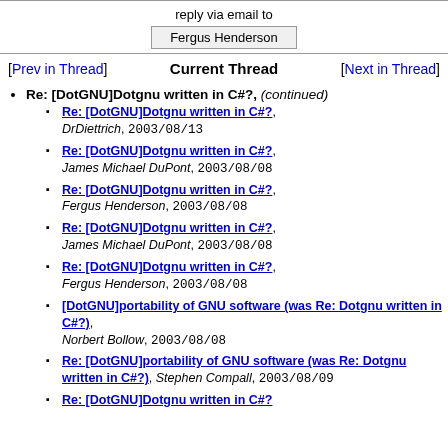reply via email to
Fergus Henderson
[Prev in Thread]   Current Thread   [Next in Thread]
Re: [DotGNU]Dotgnu written in C#?, (continued)
Re: [DotGNU]Dotgnu written in C#?, DrDiettrich, 2003/08/13
Re: [DotGNU]Dotgnu written in C#?, James Michael DuPont, 2003/08/08
Re: [DotGNU]Dotgnu written in C#?, Fergus Henderson, 2003/08/08
Re: [DotGNU]Dotgnu written in C#?, James Michael DuPont, 2003/08/08
Re: [DotGNU]Dotgnu written in C#?, Fergus Henderson, 2003/08/08
[DotGNU]portability of GNU software (was Re: Dotgnu written in C#?), Norbert Bollow, 2003/08/08
Re: [DotGNU]portability of GNU software (was Re: Dotgnu written in C#?), Stephen Compall, 2003/08/09
Re: [DotGNU]Dotgnu written in C#?